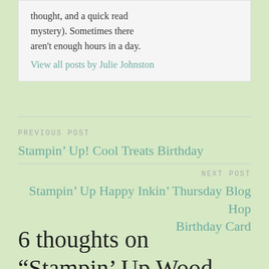thought, and a quick read mystery). Sometimes there aren't enough hours in a day.
View all posts by Julie Johnston
PREVIOUS POST
Stampin’ Up! Cool Treats Birthday
NEXT POST
Stampin’ Up Happy Inkin’ Thursday Blog Hop Birthday Card
6 thoughts on “Stampin’ Up Wood Textures Birthday”